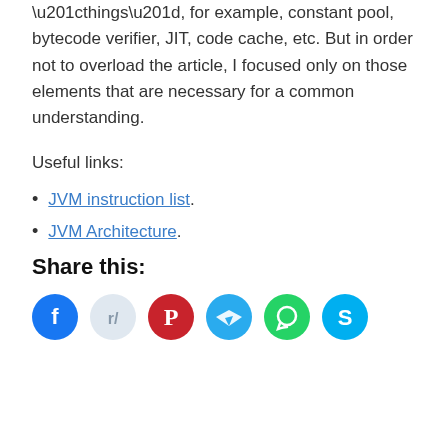“things”, for example, constant pool, bytecode verifier, JIT, code cache, etc. But in order not to overload the article, I focused only on those elements that are necessary for a common understanding.
Useful links:
JVM instruction list.
JVM Architecture.
Share this:
[Figure (infographic): Six social share buttons: Facebook (blue), Reddit (light gray/blue), Pinterest (red), Telegram (teal), WhatsApp (green), Skype (cyan)]